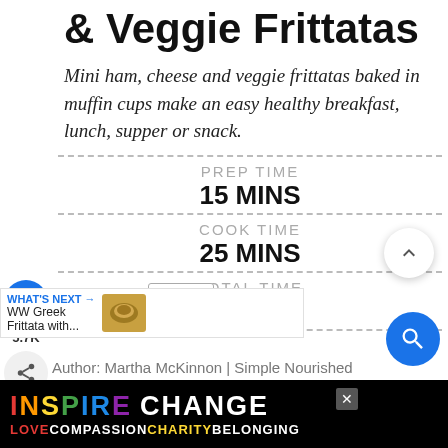& Veggie Frittatas
Mini ham, cheese and veggie frittatas baked in muffin cups make an easy healthy breakfast, lunch, supper or snack.
PREP TIME
15 MINS
COOK TIME
25 MINS
TOTAL TIME
40 MINS
adjustable): 8
Calories: 126
Author: Martha McKinnon | Simple Nourished
[Figure (infographic): Ad banner: INSPIRE CHANGE — LOVE COMPASSION CHARITY BELONGING on black background with rainbow letters]